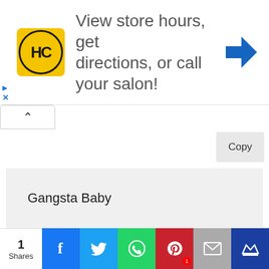[Figure (screenshot): Ad banner with HC salon logo and text 'View store hours, get directions, or call your salon!' with navigation arrow icon]
Gangsta Baby
Kind Witch
[Figure (screenshot): Social share bar with 1 Shares count, Facebook, Twitter, WhatsApp, Pinterest (1), Email, and crown icon buttons]